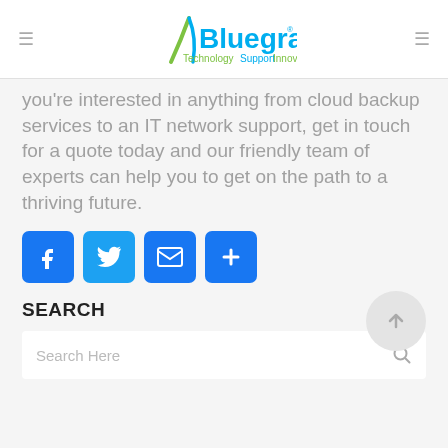Bluegrass — TechnologySupportInnovation
you're interested in anything from cloud backup services to an IT network support, get in touch for a quote today and our friendly team of experts can help you to get on the path to a thriving future.
[Figure (infographic): Social share buttons: Facebook, Twitter, Email, and a plus/share button]
SEARCH
[Figure (other): Search input box with placeholder text 'Search Here' and a search icon]